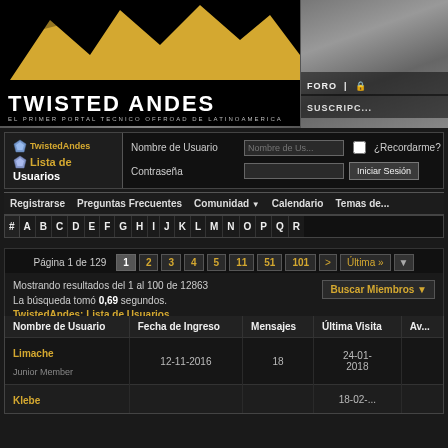[Figure (logo): Twisted Andes logo with mountain silhouette in yellow/gold, white bold text 'TWISTED ANDES' and subtitle 'EL PRIMER PORTAL TECNICO OFFROAD DE LATINOAMERICA']
FORO | ... SUSCRIPC...
| TwistedAndes / Lista de Usuarios | Nombre de Usuario | [input] | ¿Recordarme? | Contraseña | [input] | Iniciar Sesión |
Registrarse
Preguntas Frecuentes
Comunidad ▼
Calendario
Temas de...
| # | A | B | C | D | E | F | G | H | I | J | K | L | M | N | O | P | Q | R |
| --- | --- | --- | --- | --- | --- | --- | --- | --- | --- | --- | --- | --- | --- | --- | --- | --- | --- | --- |
Página 1 de 129  1  2  3  4  5  11  51  101  >  Última »
Mostrando resultados del 1 al 100 de 12863
La búsqueda tomó 0,69 segundos.
TwistedAndes: Lista de Usuarios
| Nombre de Usuario | Fecha de Ingreso | Mensajes | Última Visita | Av... |
| --- | --- | --- | --- | --- |
| Limache
Junior Member | 12-11-2016 | 18 | 24-01-2018 |  |
| Klebe |  |  | 18-02-... |  |